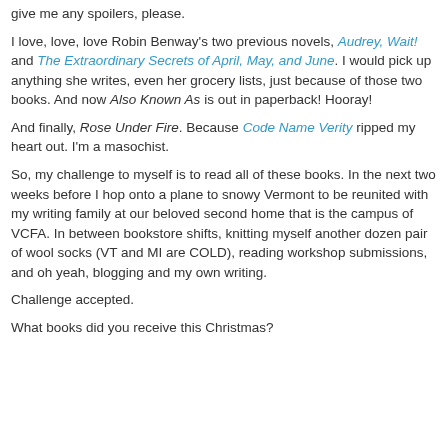give me any spoilers, please.
I love, love, love Robin Benway's two previous novels, Audrey, Wait! and The Extraordinary Secrets of April, May, and June. I would pick up anything she writes, even her grocery lists, just because of those two books. And now Also Known As is out in paperback! Hooray!
And finally, Rose Under Fire. Because Code Name Verity ripped my heart out. I'm a masochist.
So, my challenge to myself is to read all of these books. In the next two weeks before I hop onto a plane to snowy Vermont to be reunited with my writing family at our beloved second home that is the campus of VCFA. In between bookstore shifts, knitting myself another dozen pair of wool socks (VT and MI are COLD), reading workshop submissions, and oh yeah, blogging and my own writing.
Challenge accepted.
What books did you receive this Christmas?